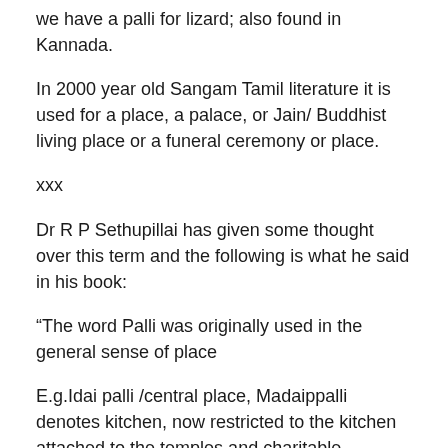we have a palli for lizard; also found in Kannada.
In 2000 year old Sangam Tamil literature it is used for a place, a palace, or Jain/ Buddhist living place or a funeral ceremony or place.
xxx
Dr R P Sethupillai has given some thought over this term and the following is what he said in his book:
“The word Palli was originally used in the general sense of place
E.g.Idai palli /central place, Madaippalli denotes kitchen, now restricted to the kitchen attached to the temples and charitable foundations.
Madai = cooked rice, palli = place